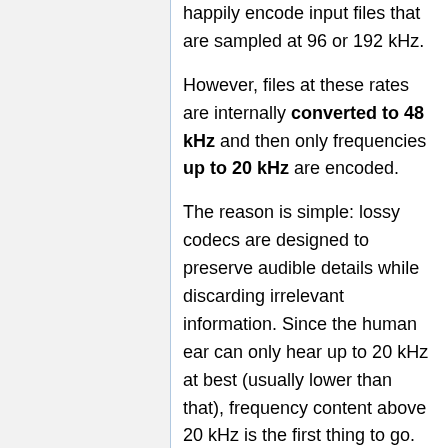happily encode input files that are sampled at 96 or 192 kHz.
However, files at these rates are internally converted to 48 kHz and then only frequencies up to 20 kHz are encoded.
The reason is simple: lossy codecs are designed to preserve audible details while discarding irrelevant information. Since the human ear can only hear up to 20 kHz at best (usually lower than that), frequency content above 20 kHz is the first thing to go.
See Monty's article for more details.
What are the licensing requirements?
The reference Opus source code is released under a three-clause BSD